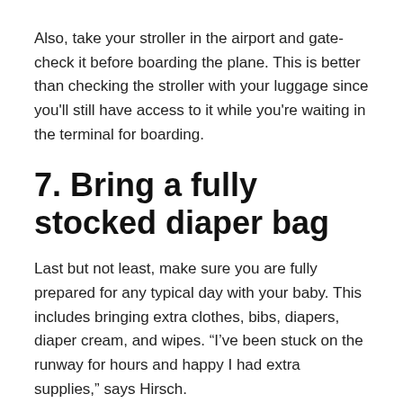Also, take your stroller in the airport and gate-check it before boarding the plane. This is better than checking the stroller with your luggage since you'll still have access to it while you're waiting in the terminal for boarding.
7. Bring a fully stocked diaper bag
Last but not least, make sure you are fully prepared for any typical day with your baby. This includes bringing extra clothes, bibs, diapers, diaper cream, and wipes. “I’ve been stuck on the runway for hours and happy I had extra supplies,” says Hirsch.
You should also be prepared to change a diaper or two on the plane. This can be a stressful experience...